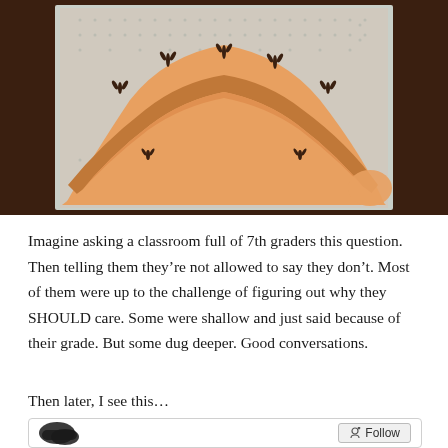[Figure (photo): A photograph of a textile/fabric artwork showing an embroidered or woven landscape with a hill or mound shape in orange/brown tones with dark bird footprint or plant motifs, on a light background with frayed edges.]
Imagine asking a classroom full of 7th graders this question. Then telling them they’re not allowed to say they don’t. Most of them were up to the challenge of figuring out why they SHOULD care. Some were shallow and just said because of their grade. But some dug deeper. Good conversations.
Then later, I see this…
[Figure (screenshot): Partial screenshot of a social media post showing a blurred/redacted avatar on the left and a Follow button on the right.]